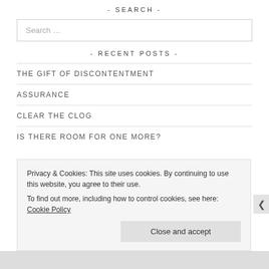- SEARCH -
Search …
- RECENT POSTS -
THE GIFT OF DISCONTENTMENT
ASSURANCE
CLEAR THE CLOG
IS THERE ROOM FOR ONE MORE?
Privacy & Cookies: This site uses cookies. By continuing to use this website, you agree to their use.
To find out more, including how to control cookies, see here: Cookie Policy
Close and accept